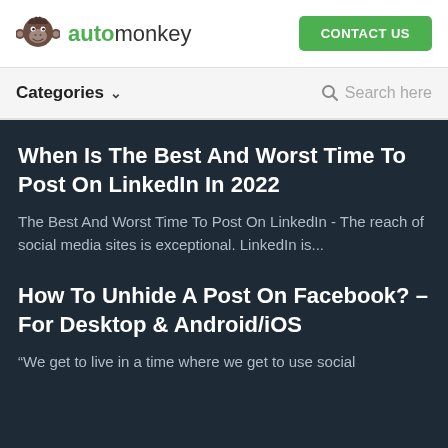automonkey | CONTACT US
Categories ∨   Search here
When Is The Best And Worst Time To Post On LinkedIn In 2022
The Best And Worst Time To Post On LinkedIn - The reach of social media sites is exceptional. LinkedIn is...
How To Unhide A Post On Facebook? – For Desktop & Android/iOS
“We get to live in a time where we get to use social